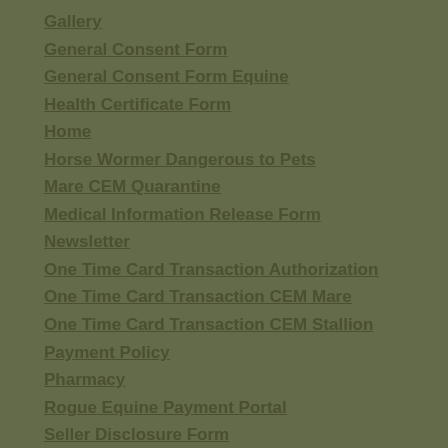Gallery
General Consent Form
General Consent Form Equine
Health Certificate Form
Home
Horse Wormer Dangerous to Pets
Mare CEM Quarantine
Medical Information Release Form
Newsletter
One Time Card Transaction Authorization
One Time Card Transaction CEM Mare
One Time Card Transaction CEM Stallion
Payment Policy
Pharmacy
Rogue Equine Payment Portal
Seller Disclosure Form
Service-Area-Man